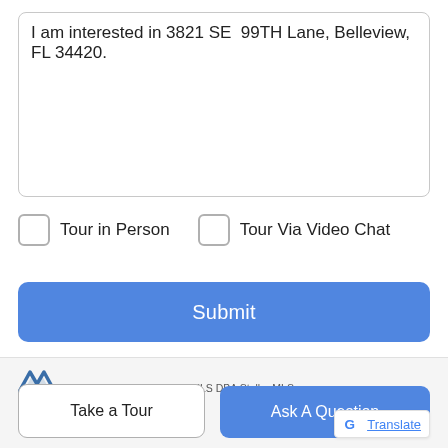I am interested in 3821 SE  99TH Lane, Belleview, FL 34420.
Tour in Person
Tour Via Video Chat
Submit
Disclaimer: By entering your information and submitting this form, you agree to our Terms of Use and Privacy Policy and that you may be contacted by phone, text message and email about your inquiry.
Take a Tour
Ask A Question
Translate